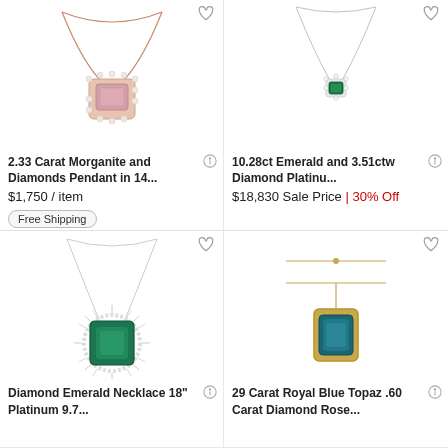[Figure (photo): Rose gold necklace with pink morganite rectangular pendant surrounded by diamonds]
2.33 Carat Morganite and Diamonds Pendant in 14...
$1,750 / item
Free Shipping
[Figure (photo): Silver/platinum necklace with small green emerald pendant surrounded by diamonds]
10.28ct Emerald and 3.51ctw Diamond Platinu...
$18,830 Sale Price | 30% Off
[Figure (photo): Silver/platinum necklace with large green emerald square pendant surrounded by diamond halo]
Diamond Emerald Necklace 18" Platinum 9.7...
[Figure (photo): Gold necklace with teal/blue rectangular topaz pendant]
29 Carat Royal Blue Topaz .60 Carat Diamond Rose...